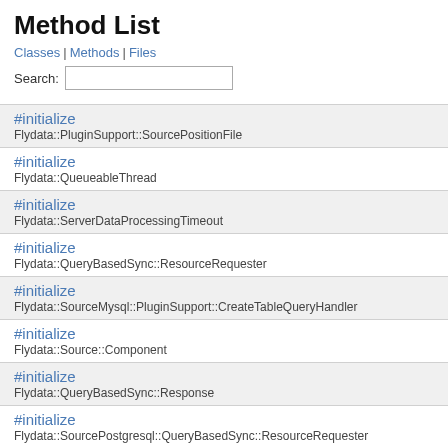Method List
Classes | Methods | Files
Search:
#initialize
Flydata::PluginSupport::SourcePositionFile
#initialize
Flydata::QueueableThread
#initialize
Flydata::ServerDataProcessingTimeout
#initialize
Flydata::QueryBasedSync::ResourceRequester
#initialize
Flydata::SourceMysql::PluginSupport::CreateTableQueryHandler
#initialize
Flydata::Source::Component
#initialize
Flydata::QueryBasedSync::Response
#initialize
Flydata::SourcePostgresql::QueryBasedSync::ResourceRequester
#initialize
Flydata::SourceOracle::QueryBasedSync::DiffQueryGenerator
#initialize
Flydata::Command::Base